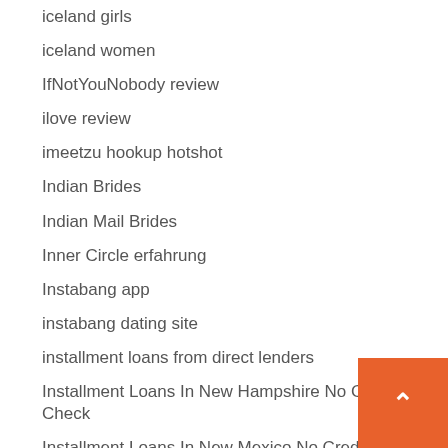iceland girls
iceland women
IfNotYouNobody review
ilove review
imeetzu hookup hotshot
Indian Brides
Indian Mail Brides
Inner Circle erfahrung
Instabang app
instabang dating site
installment loans from direct lenders
Installment Loans In New Hampshire No Credit Check
Installment Loans In New Mexico No Credit Check
Installment Loans In South Carolina Direct Lenders
Installment Loans Oklahoma